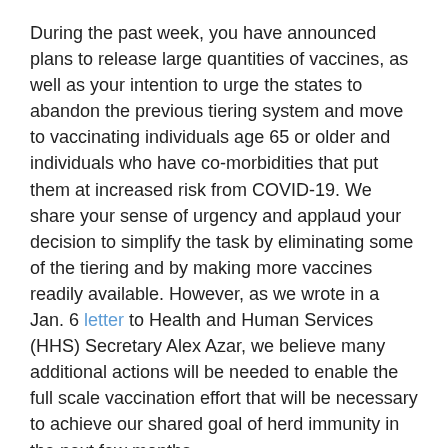During the past week, you have announced plans to release large quantities of vaccines, as well as your intention to urge the states to abandon the previous tiering system and move to vaccinating individuals age 65 or older and individuals who have co-morbidities that put them at increased risk from COVID-19. We share your sense of urgency and applaud your decision to simplify the task by eliminating some of the tiering and by making more vaccines readily available. However, as we wrote in a Jan. 6 letter to Health and Human Services (HHS) Secretary Alex Azar, we believe many additional actions will be needed to enable the full scale vaccination effort that will be necessary to achieve our shared goal of herd immunity in the next few months.
Without clear leadership and direction from your administration, these problems will inevitably worsen as the number of people seeking to be vaccinated grows exponentially. To get to the scale our country needs to in order to vaccinate millions of people per day, hospitals and others who are able to contribute to the effort will all need to become part of the team. Those new to the effort, as well as those who have been engaged thus far, need coordination,